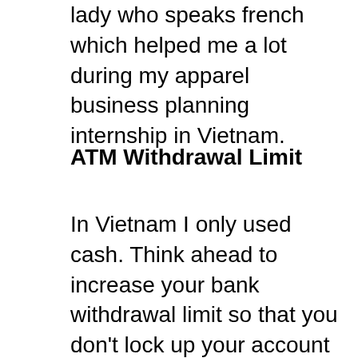lady who speaks french which helped me a lot during my apparel business planning internship in Vietnam.
ATM Withdrawal Limit
In Vietnam I only used cash. Think ahead to increase your bank withdrawal limit so that you don't lock up your account for withdrawing too much too fast. I was blocked and it is very stressful when you don't have enough money 10.000km from home. To withdraw money it is not complicated. There are ATMs almost everywhere. My bank is HSBC and I was amazed to see that there are HSBC ATMs here in Vietnam. So, I withdraw money in HSBCs ATM